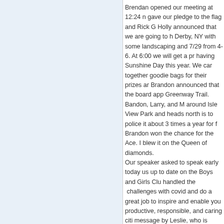Brendan opened our meeting at 12:24 n gave our pledge to the flag and Rick G Holly announced that we are going to h Derby, NY with some landscaping and 7/29 from 4-6. At 6:00 we will get a pr having Sunshine Day this year. We car together goodie bags for their prizes ar Brandon announced that the board app Greenway Trail. Bandon, Larry, and M around Isle View Park and heads north is to police it about 3 times a year for f Brandon won the chance for the Ace. I blew it on the Queen of diamonds. Our speaker asked to speak early today us up to date on the Boys and Girls Clu handled the challenges with covid and do a great job to inspire and enable you productive, responsible, and caring citi message by Leslie, who is putting in he you aboard. Holly gave us more rain tri confessions, so Brandon adjourned us a Jeff
The Ken 7/12/
The Ken 7/12
The Ken President Elect Brandon ope